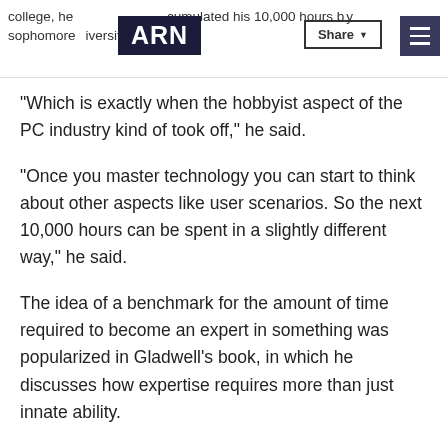college, he accumulated his 10,000 hours by sophomore [university]. ARN | Share | Menu
"Which is exactly when the hobbyist aspect of the PC industry kind of took off," he said.
"Once you master technology you can start to think about other aspects like user scenarios. So the next 10,000 hours can be spent in a slightly different way," he said.
The idea of a benchmark for the amount of time required to become an expert in something was popularized in Gladwell's book, in which he discusses how expertise requires more than just innate ability.
He says researchers found that 10,000 is a magic number of sorts for the amount of time experts spend developing their